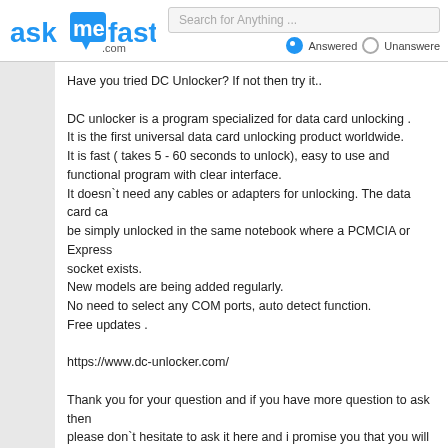askmefast.com | Search for Anything ... | Answered | Unanswered
Have you tried DC Unlocker? If not then try it..

DC unlocker is a program specialized for data card unlocking .
It is the first universal data card unlocking product worldwide.
It is fast ( takes 5 - 60 seconds to unlock), easy to use and functional program with clear interface.
It doesn`t need any cables or adapters for unlocking. The data card can be simply unlocked in the same notebook where a PCMCIA or Express socket exists.
New models are being added regularly.
No need to select any COM ports, auto detect function.
Free updates .

https://www.dc-unlocker.com/

Thank you for your question and if you have more question to ask then please don`t hesitate to ask it here and i promise you that you will get a quick response from us.." 01:24pm Jun 12, 2022
B E N received an unhelpful vote for an answer of the question: Samsung Galaxy S2 displays message "Charging paused, battery temperature too high or too low" when plugged into charger? and lost 100 points
"Hi there! Good day to you friend! If you are receiving a message on your samsung device saying "Charging paused, battery temperature too high or too low" then probably that your battery is defective. To confirm this...